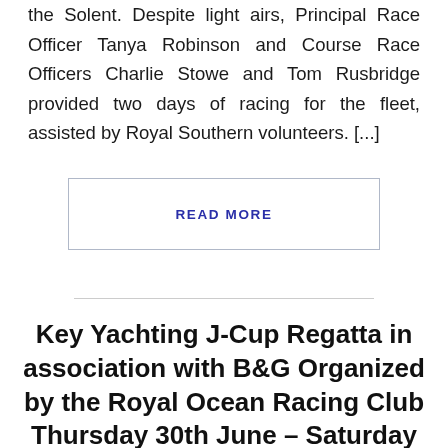the Solent. Despite light airs, Principal Race Officer Tanya Robinson and Course Race Officers Charlie Stowe and Tom Rusbridge provided two days of racing for the fleet, assisted by Royal Southern volunteers. [...]
READ MORE
Key Yachting J-Cup Regatta in association with B&G Organized by the Royal Ocean Racing Club Thursday 30th June – Saturday 2nd